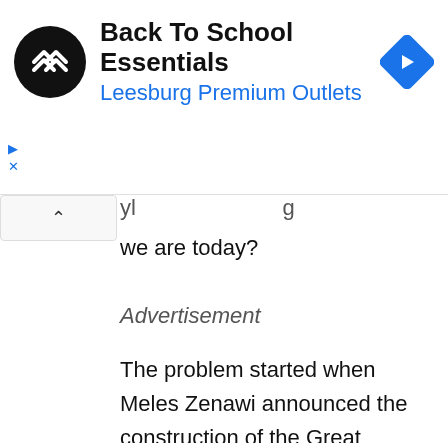[Figure (screenshot): Advertisement banner for Back To School Essentials at Leesburg Premium Outlets, with a black circular logo with double chevron arrows, bold title text, blue subtitle, and a blue diamond-shaped navigation arrow icon on the right.]
we are today?
Advertisement
The problem started when Meles Zenawi announced the construction of the Great Ethiopian Renaissance Dam (GERD). Ever since this date, Egypt set in motion a three-pronged strategy to stop the project from